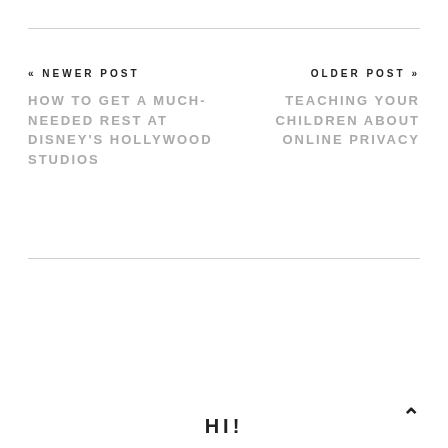« NEWER POST
HOW TO GET A MUCH-NEEDED REST AT DISNEY'S HOLLYWOOD STUDIOS
OLDER POST »
TEACHING YOUR CHILDREN ABOUT ONLINE PRIVACY
HI!